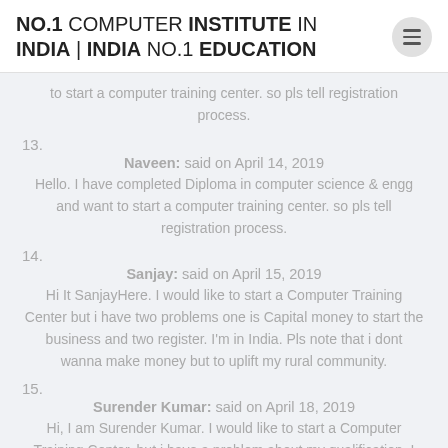NO.1 COMPUTER INSTITUTE IN INDIA | INDIA NO.1 EDUCATION
to start a computer training center. so pls tell registration process.
13. Naveen: said on April 14, 2019
Hello. I have completed Diploma in computer science & engg and want to start a computer training center. so pls tell registration process.
14. Sanjay: said on April 15, 2019
Hi It SanjayHere. I would like to start a Computer Training Center but i have two problems one is Capital money to start the business and two register. I'm in India. Pls note that i dont wanna make money but to uplift my rural community.
15. Surender Kumar: said on April 18, 2019
Hi, I am Surender Kumar. I would like to start a Computer Training Center, but i have a problem about my qualification. I have done only 10th class from Delhi and then